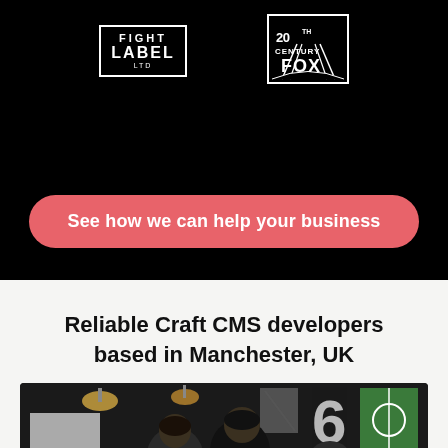[Figure (logo): Fight Label logo - white text on black with rectangular border]
[Figure (logo): 20th Century Fox logo]
See how we can help your business
Reliable Craft CMS developers based in Manchester, UK
[Figure (photo): Photo of developers working together in a dark office with pendant lights and a football pitch poster on the wall]